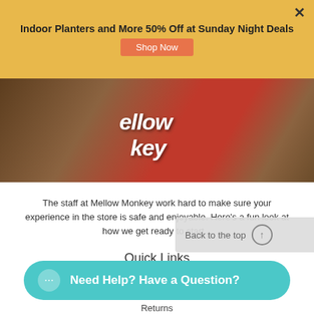[Figure (screenshot): Yellow promotional banner with text 'Indoor Planters and More 50% Off at Sunday Night Deals' and an orange 'Shop Now' button, with a close X button]
[Figure (photo): Photo of a Mellow Monkey store sign in red with white text, partially visible]
The staff at Mellow Monkey work hard to make sure your experience in the store is safe and enjoyable. Here's a fun look at how we get ready to start...
Quick Links
About Us
Blog
Returns
Afterpay Customer Service
Shipping
My Wish List
Back to the top
Need Help? Have a Question?